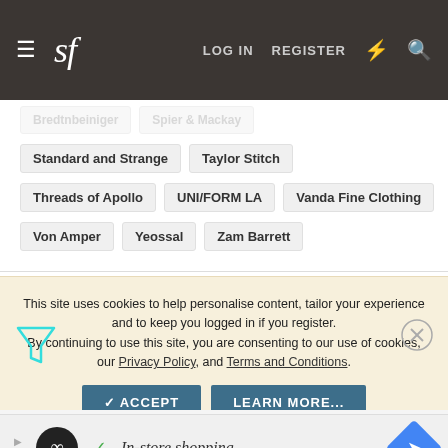sf  LOG IN  REGISTER
Standard and Strange
Taylor Stitch
Threads of Apollo
UNI/FORM LA
Vanda Fine Clothing
Von Amper
Yeossal
Zam Barrett
This site uses cookies to help personalise content, tailor your experience and to keep you logged in if you register. By continuing to use this site, you are consenting to our use of cookies, our Privacy Policy, and Terms and Conditions.
ACCEPT  LEARN MORE...
[Figure (screenshot): Advertisement banner with shopping icon and In-store shopping text]